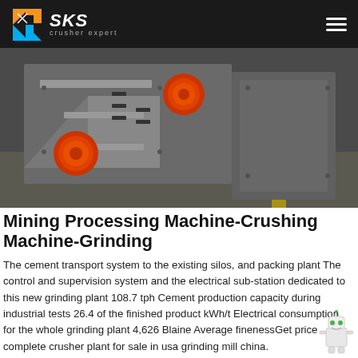SKS crusher expert
[Figure (photo): Industrial mining/crushing machine with orange circular elements mounted on a grey metal frame structure, viewed from below at an angle in a dark industrial setting.]
Mining Processing Machine-Crushing Machine-Grinding
The cement transport system to the existing silos, and packing plant The control and supervision system and the electrical sub-station dedicated to this new grinding plant 108.7 tph Cement production capacity during industrial tests 26.4 of the finished product kWh/t Electrical consumption for the whole grinding plant 4,626 Blaine Average finenessGet price complete crusher plant for sale in usa grinding mill china.